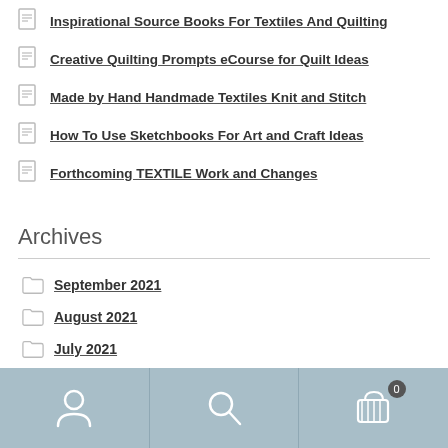Inspirational Source Books For Textiles And Quilting
Creative Quilting Prompts eCourse for Quilt Ideas
Made by Hand Handmade Textiles Knit and Stitch
How To Use Sketchbooks For Art and Craft Ideas
Forthcoming TEXTILE Work and Changes
Archives
September 2021
August 2021
July 2021